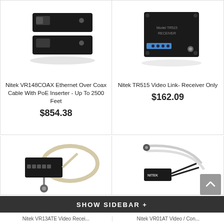[Figure (photo): Nitek VR148COAX device - black ethernet over coax hardware unit]
Nitek VR148COAX Ethernet Over Coax Cable With PoE Inserter - Up To 2500 Feet
$854.38
[Figure (photo): Nitek TR515 receiver - black square device with connectors]
Nitek TR515 Video Link- Receiver Only
$162.09
[Figure (photo): Nitek video device with coax cable and BNC connector]
[Figure (photo): Nitek VR01AT video device with cables]
SHOW SIDEBAR +
Nitek VR13ATE Video Recei...
Nitek VR01AT Video / Con...